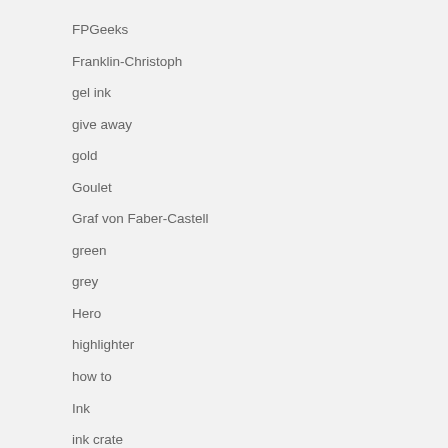FPGeeks
Franklin-Christoph
gel ink
give away
gold
Goulet
Graf von Faber-Castell
green
grey
Hero
highlighter
how to
Ink
ink crate
ink drop
ink review